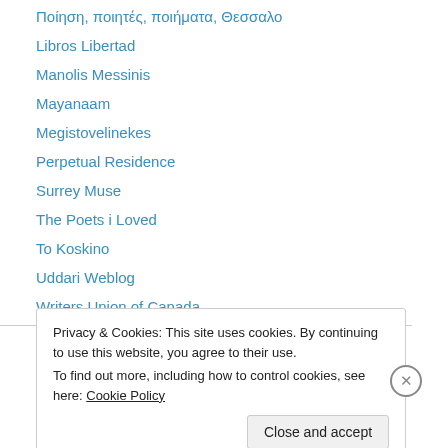Ποίηση, ποιητές, ποιήματα, Θεσσαλο
Libros Libertad
Manolis Messinis
Mayanaam
Megistovelinekes
Perpetual Residence
Surrey Muse
The Poets i Loved
To Koskino
Uddari Weblog
Writers Union of Canada
Privacy & Cookies: This site uses cookies. By continuing to use this website, you agree to their use. To find out more, including how to control cookies, see here: Cookie Policy
Close and accept